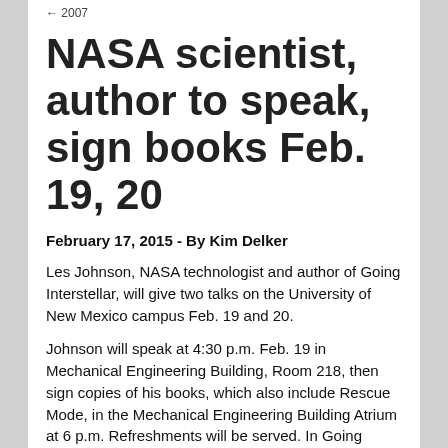← 2007
NASA scientist, author to speak, sign books Feb. 19, 20
February 17, 2015 - By Kim Delker
Les Johnson, NASA technologist and author of Going Interstellar, will give two talks on the University of New Mexico campus Feb. 19 and 20.
Johnson will speak at 4:30 p.m. Feb. 19 in Mechanical Engineering Building, Room 218, then sign copies of his books, which also include Rescue Mode, in the Mechanical Engineering Building Atrium at 6 p.m. Refreshments will be served. In Going Interstellar, Johnson describes methods that may one day enable us to travel to the stars.
On Feb. 20, at 3:30 p.m. in Mechanical Engineering Building,